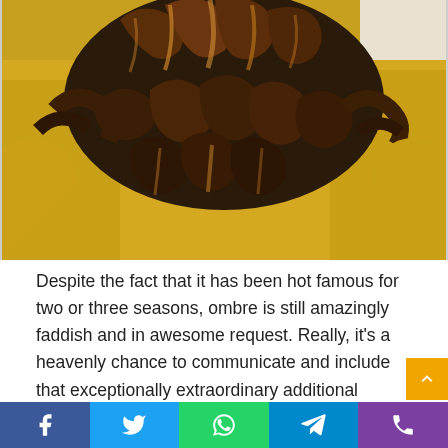[Figure (photo): Back view of a person with long wavy brown hair with highlights wearing a bright yellow top, standing near a white wall with wood flooring visible.]
Despite the fact that it has been hot famous for two or three seasons, ombre is still amazingly faddish and in awesome request. Really, it's a heavenly chance to communicate and include that exceptionally extraordinary additional sparkle to your looks.
Social share bar with Facebook, Twitter, WhatsApp, Telegram, Phone icons